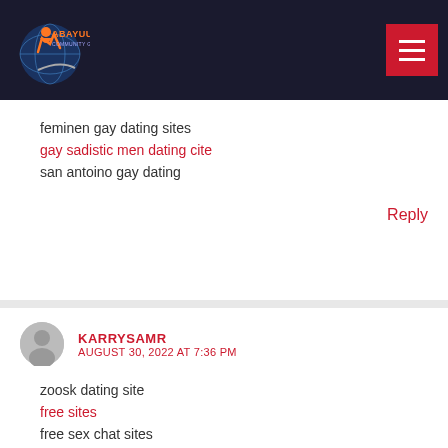[Figure (logo): Abayuuti Community Group logo with globe and figure icon]
feminen gay dating sites
gay sadistic men dating cite
san antoino gay dating
Reply
[Figure (illustration): Generic user avatar icon (grey circle with person silhouette)]
KARRYSAMR
AUGUST 30, 2022 AT 7:36 PM
zoosk dating site
free sites
free sex chat sites
Reply